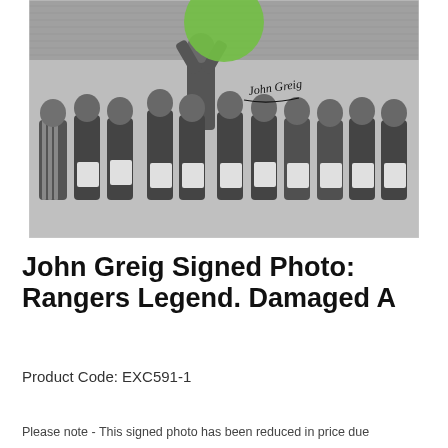[Figure (photo): Black and white photograph of John Greig being lifted on shoulders by teammates on a football pitch with stadium crowd in background. A signature reading 'John Greig' is visible on the photo. A green circle overlay appears at the top of the image frame.]
John Greig Signed Photo: Rangers Legend. Damaged A
Product Code: EXC591-1
Please note - This signed photo has been reduced in price due